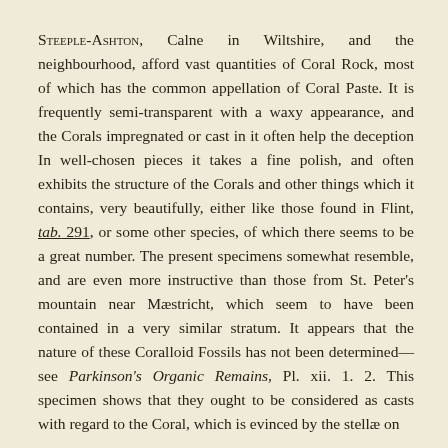Steeple-Ashton, Calne in Wiltshire, and the neighbourhood, afford vast quantities of Coral Rock, most of which has the common appellation of Coral Paste. It is frequently semi-transparent with a waxy appearance, and the Corals impregnated or cast in it often help the deception In well-chosen pieces it takes a fine polish, and often exhibits the structure of the Corals and other things which it contains, very beautifully, either like those found in Flint, tab. 291, or some other species, of which there seems to be a great number. The present specimens somewhat resemble, and are even more instructive than those from St. Peter's mountain near Mæstricht, which seem to have been contained in a very similar stratum. It appears that the nature of these Coralloid Fossils has not been determined—see Parkinson's Organic Remains, Pl. xii. 1. 2. This specimen shows that they ought to be considered as casts with regard to the Coral, which is evinced by the stellæ on